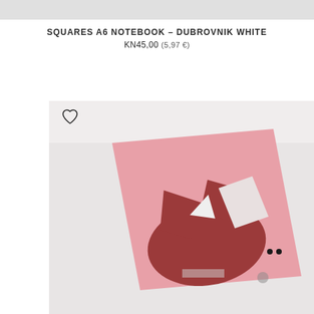SQUARES A6 NOTEBOOK – DUBROVNIK WHITE
KN45,00 (5,97 €)
[Figure (photo): Product photo of a pink A6 notebook with a graphic design featuring a dark red/burgundy ship or bird shape composed of geometric forms on the cover, shown at an angle on a light gray background. A heart/wishlist icon appears in the top left corner of the image frame.]